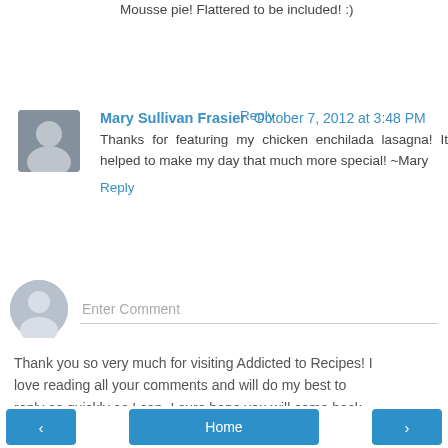Thank you for featuring my Peanut Butter Chocolate Mousse pie! Flattered to be included! :)
Reply
Mary Sullivan Frasier  October 7, 2012 at 3:48 PM
Thanks for featuring my chicken enchilada lasagna! It helped to make my day that much more special! ~Mary
Reply
Enter Comment
Thank you so very much for visiting Addicted to Recipes! I love reading all your comments and will do my best to reply as quickly as I can. I sure hope you will come back and visit again soon!
Home